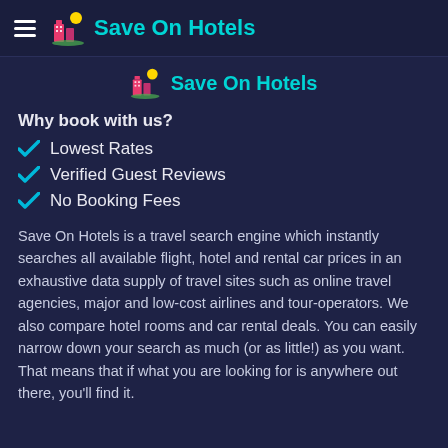Save On Hotels
Save On Hotels
Why book with us?
Lowest Rates
Verified Guest Reviews
No Booking Fees
Save On Hotels is a travel search engine which instantly searches all available flight, hotel and rental car prices in an exhaustive data supply of travel sites such as online travel agencies, major and low-cost airlines and tour-operators. We also compare hotel rooms and car rental deals. You can easily narrow down your search as much (or as little!) as you want. That means that if what you are looking for is anywhere out there, you'll find it.